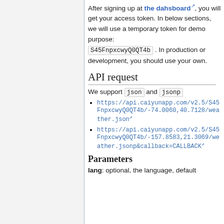After signing up at the dahsboard, you will get your access token. In below sections, we will use a temporary token for demo purpose: S45FnpxcwyQ0QT4b . In production or development, you should use your own.
API request
We support json and jsonp
https://api.caiyunapp.com/v2.5/S45FnpxcwyQ0QT4b/-74.0060,40.7128/weather.json
https://api.caiyunapp.com/v2.5/S45FnpxcwyQ0QT4b/-157.8583,21.3069/weather.jsonp&callback=CALLBACK
Parameters
lang: optional, the language, default